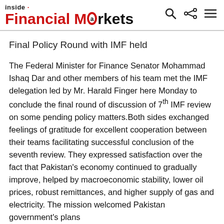inside Financial Markets
Final Policy Round with IMF held
The Federal Minister for Finance Senator Mohammad Ishaq Dar and other members of his team met the IMF delegation led by Mr. Harald Finger here Monday to conclude the final round of discussion of 7th IMF review on some pending policy matters.Both sides exchanged feelings of gratitude for excellent cooperation between their teams facilitating successful conclusion of the seventh review. They expressed satisfaction over the fact that Pakistan's economy continued to gradually improve, helped by macroeconomic stability, lower oil prices, robust remittances, and higher supply of gas and electricity. The mission welcomed Pakistan government's plans